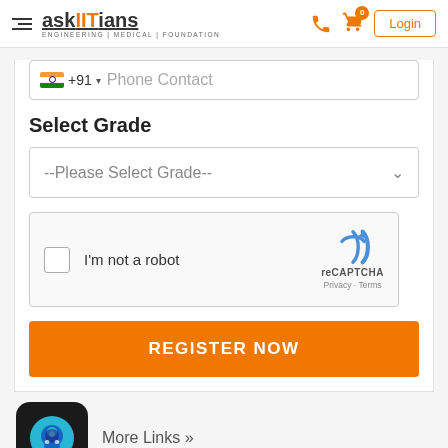askIITians ENGINEERING | MEDICAL | FOUNDATION — Login
[Figure (screenshot): Phone contact input field with Indian flag, +91 country code dropdown, and 'Phone Contact' placeholder text]
Select Grade
[Figure (screenshot): Dropdown select box with placeholder '--Please Select Grade--' and a chevron arrow]
[Figure (screenshot): reCAPTCHA widget with checkbox, 'I'm not a robot' text, reCAPTCHA logo, and Privacy - Terms links]
REGISTER NOW
[Figure (screenshot): Chat bot icon — black rounded square with blue circle and robot face]
More Links »
About Us | Blog | Media Coverage | School Tie-up